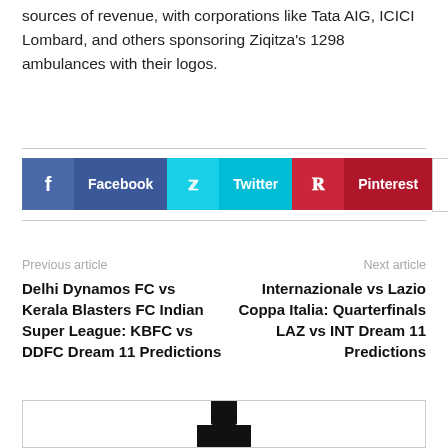sources of revenue, with corporations like Tata AIG, ICICI Lombard, and others sponsoring Ziqitza's 1298 ambulances with their logos.
[Figure (infographic): Social sharing buttons: Facebook (dark blue), Twitter (cyan/light blue), Pinterest (dark red), and a '+' more button (white with border)]
Previous article
Next article
Delhi Dynamos FC vs Kerala Blasters FC Indian Super League: KBFC vs DDFC Dream 11 Predictions
Internazionale vs Lazio Coppa Italia: Quarterfinals LAZ vs INT Dream 11 Predictions
[Figure (illustration): Partial view of a social/share icon (dark silhouette) at the bottom of the page]